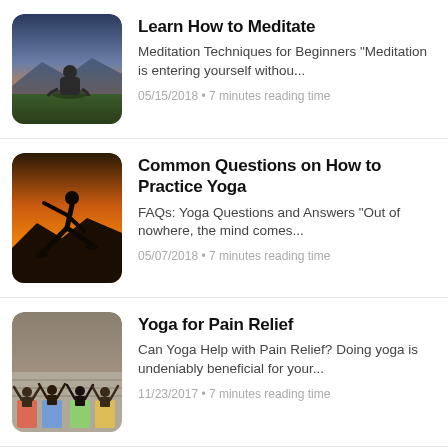[Figure (photo): Person meditating on a hilltop at sunset/dusk with scenic landscape background]
Learn How to Meditate
Meditation Techniques for Beginners "Meditation is entering yourself withou...
05/15/2018 • 7 minutes reading time
[Figure (photo): Silhouette of a person doing a yoga pose against an orange sunset sky with mountains]
Common Questions on How to Practice Yoga
FAQs: Yoga Questions and Answers "Out of nowhere, the mind comes...
05/07/2018 • 7 minutes reading time
[Figure (photo): Group of people doing yoga outdoors with arms raised, viewed from behind]
Yoga for Pain Relief
Can Yoga Help with Pain Relief? Doing yoga is undeniably beneficial for your...
11/23/2017 • 7 minutes reading time
How to Take Yoga Classes like a